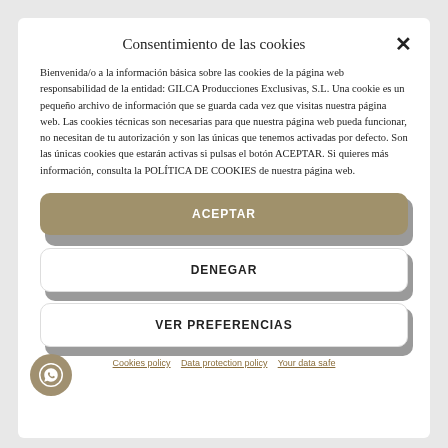Consentimiento de las cookies
Bienvenida/o a la información básica sobre las cookies de la página web responsabilidad de la entidad: GILCA Producciones Exclusivas, S.L. Una cookie es un pequeño archivo de información que se guarda cada vez que visitas nuestra página web. Las cookies técnicas son necesarias para que nuestra página web pueda funcionar, no necesitan de tu autorización y son las únicas que tenemos activadas por defecto. Son las únicas cookies que estarán activas si pulsas el botón ACEPTAR. Si quieres más información, consulta la POLÍTICA DE COOKIES de nuestra página web.
ACEPTAR
DENEGAR
VER PREFERENCIAS
Cookies policy   Data protection policy   Your data safe